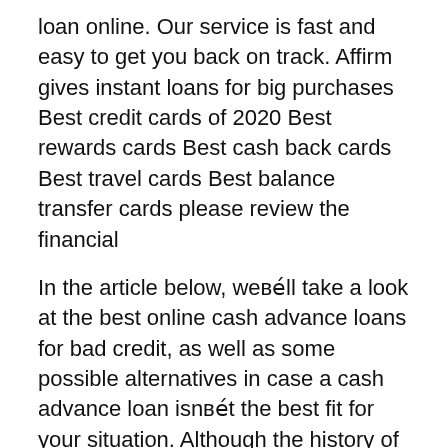loan online. Our service is fast and easy to get you back on track. Affirm gives instant loans for big purchases Best credit cards of 2020 Best rewards cards Best cash back cards Best travel cards Best balance transfer cards please review the financial
In the article below, we’ll take a look at the best online cash advance loans for bad credit, as well as some possible alternatives in case a cash advance loan isn’t the best fit for your situation. Although the history of the term is sometimes disputed, English speakers have been using the word “cash” to […] Compare the max amounts, turnaround times and serviced states of top online payday loans to find the best one for you. Plus learn what to